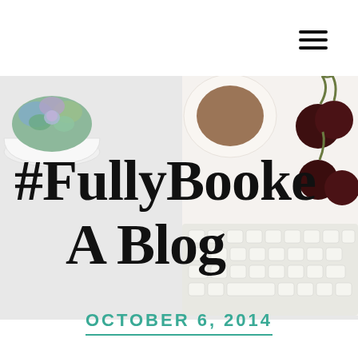[Figure (illustration): Hamburger menu icon (three horizontal black lines) in top right corner]
[Figure (photo): Hero banner image: light gray background with a succulent plant in a white bowl at top left, and cherries with a keyboard on a white surface at the right side, overlaid with large bold serif text '#FullyBooke' on first line and 'A Blog' on second line]
#FullyBooke A Blog
OCTOBER 6, 2014